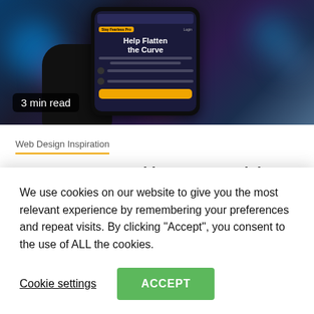[Figure (photo): Smartphone screen showing 'Help Flatten the Curve' app, held by a hand, dark bokeh background with blue and purple lights. Badge shows '3 min read'.]
Web Design Inspiration
Are you protected by Avast Antivirus 2022?
3 months ago   Magenet Magenet
We use cookies on our website to give you the most relevant experience by remembering your preferences and repeat visits. By clicking “Accept”, you consent to the use of ALL the cookies.
Cookie settings   ACCEPT